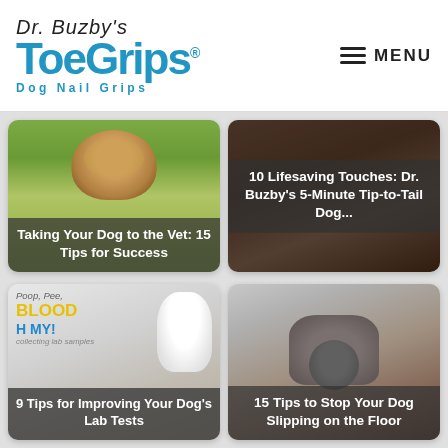[Figure (logo): Dr. Buzby's ToeGrips Dog Nail Grips logo with handwritten script and blue sans-serif font]
[Figure (screenshot): Navigation menu button with hamburger icon and MENU text]
[Figure (photo): Article card: photo of a dog on grass with text overlay 'Taking Your Dog to the Vet: 15 Tips for Success']
[Figure (photo): Article card: dark photo of a dog with text overlay '10 Lifesaving Touches: Dr. Buzby's 5-Minute Tip-to-Tail Dog...']
[Figure (photo): Article card: white dog with glasses, Poop Pee Blood OH MY collecting lab samples text, overlay '9 Tips for Improving Your Dog's Lab Tests']
[Figure (photo): Article card: merle/blue dog standing with text overlay '15 Tips to Stop Your Dog Slipping on the Floor']